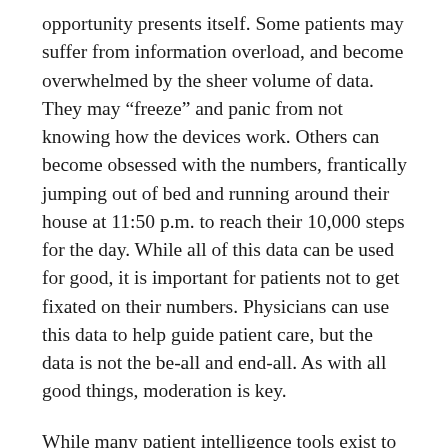opportunity presents itself. Some patients may suffer from information overload, and become overwhelmed by the sheer volume of data. They may “freeze” and panic from not knowing how the devices work. Others can become obsessed with the numbers, frantically jumping out of bed and running around their house at 11:50 p.m. to reach their 10,000 steps for the day. While all of this data can be used for good, it is important for patients not to get fixated on their numbers. Physicians can use this data to help guide patient care, but the data is not the be-all and end-all. As with all good things, moderation is key.
While many patient intelligence tools exist to improve patient care, the medical profession is often slow to change and adapt. Despite the widespread use of many of these applications and devices, it may take some time before they are integrated into formalized patient care. However, as